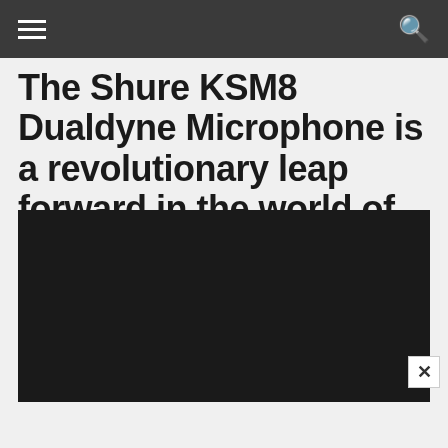The Shure KSM8 Dualdyne Microphone is a revolutionary leap forward in the world of vocal mics.
[Figure (photo): Dark/black background image area, likely a photo of the Shure KSM8 microphone]
[Figure (infographic): UK Sound advertisement banner with logo 'UKsound' and tagline 'Studio Sound at an Affordable Price', with blue audio hardware device shown on right side]